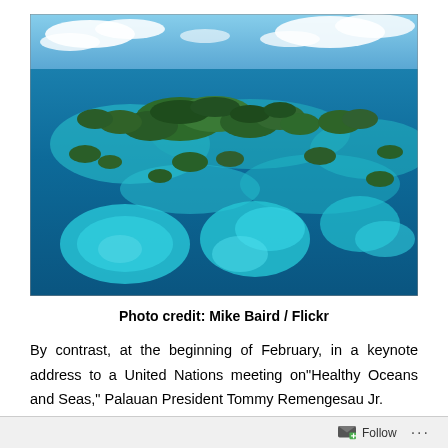[Figure (photo): Aerial photograph of Palau's Rock Islands — numerous lush green forested islands and coral reef atolls surrounded by vivid turquoise and deep blue ocean water, with clouds on the horizon.]
Photo credit: Mike Baird / Flickr
By contrast, at the beginning of February, in a keynote address to a United Nations meeting on"Healthy Oceans and Seas," Palauan President Tommy Remengesau Jr.